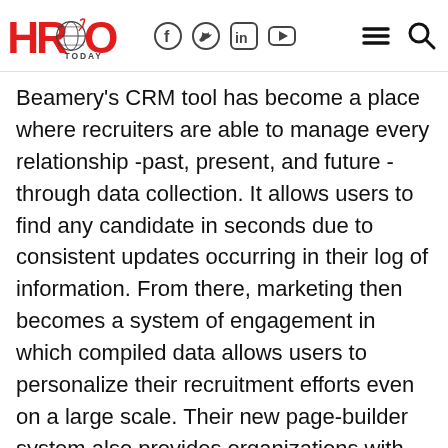HRO Today — social icons: Facebook, Twitter, LinkedIn, YouTube — hamburger menu, search
Beamery's CRM tool has become a place where recruiters are able to manage every relationship -past, present, and future -through data collection. It allows users to find any candidate in seconds due to consistent updates occurring in their log of information. From there, marketing then becomes a system of engagement in which compiled data allows users to personalize their recruitment efforts even on a large scale. Their new page-builder system also provides organizations with customizable